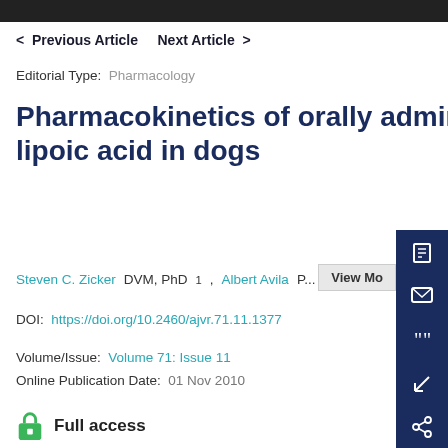< Previous Article   Next Article >
Editorial Type: Pharmacology
Pharmacokinetics of orally administered DL-α-lipoic acid in dogs
Steven C. Zicker DVM, PhD1, Albert Avila P...
DOI: https://doi.org/10.2460/ajvr.71.11.1377
Volume/Issue: Volume 71: Issue 11
Online Publication Date: 01 Nov 2010
Full access